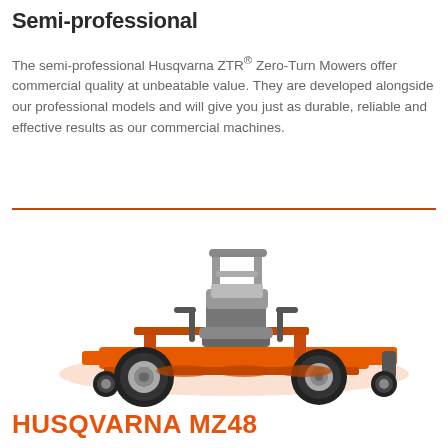Semi-professional
The semi-professional Husqvarna ZTR® Zero-Turn Mowers offer commercial quality at unbeatable value. They are developed alongside our professional models and will give you just as durable, reliable and effective results as our commercial machines.
[Figure (photo): Husqvarna MZ48 zero-turn mower with orange deck and gray seat, viewed from a three-quarter front angle on white background]
HUSQVARNA MZ48